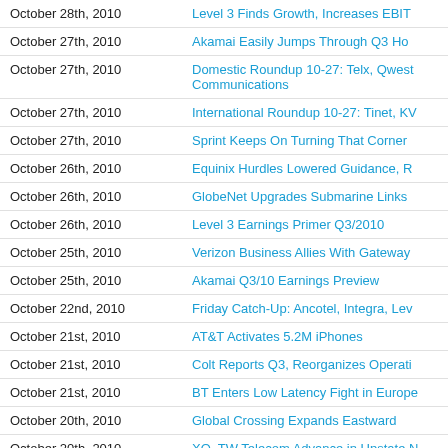October 28th, 2010 | Level 3 Finds Growth, Increases EBIT
October 27th, 2010 | Akamai Easily Jumps Through Q3 Ho
October 27th, 2010 | Domestic Roundup 10-27: Telx, Qwest Communications
October 27th, 2010 | International Roundup 10-27: Tinet, KV
October 27th, 2010 | Sprint Keeps On Turning That Corner
October 26th, 2010 | Equinix Hurdles Lowered Guidance, R
October 26th, 2010 | GlobeNet Upgrades Submarine Links
October 26th, 2010 | Level 3 Earnings Primer Q3/2010
October 25th, 2010 | Verizon Business Allies With Gateway
October 25th, 2010 | Akamai Q3/10 Earnings Preview
October 22nd, 2010 | Friday Catch-Up: Ancotel, Integra, Lev
October 21st, 2010 | AT&T Activates 5.2M iPhones
October 21st, 2010 | Colt Reports Q3, Reorganizes Operati
October 21st, 2010 | BT Enters Low Latency Fight in Europe
October 20th, 2010 | Global Crossing Expands Eastward
October 20th, 2010 | XO, TW Telecom Advance in Upstate N
October 19th, 2010 | Spread Not Aerial
October 19th, 2010 | Juniper Reports Q3 Inline, Street ...